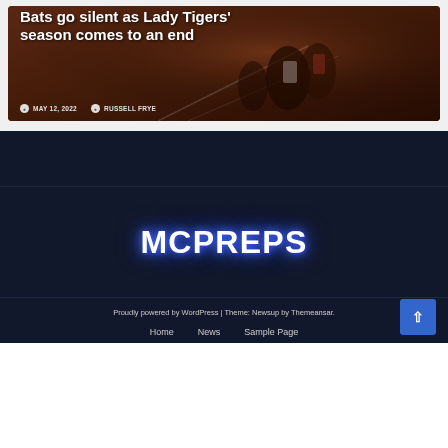[Figure (photo): Baseball game photo with players on field, dark reddish-brown tones, used as article card background]
Bats go silent as Lady Tigers' season comes to an end
MAY 12, 2022   RUSSELL FRYE
[Figure (logo): MCPREPS site logo in bold white text with blue neon glow effect on dark navy background]
Proudly powered by WordPress | Theme: Newsup by Themeansar.
Home   News   Sample Page